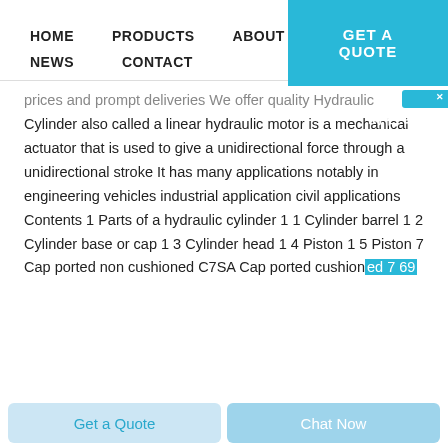HOME   PRODUCTS   ABOUT   GET A QUOTE   NEWS   CONTACT
prices and prompt deliveries We offer quality Hydraulic Cylinder also called a linear hydraulic motor is a mechanical actuator that is used to give a unidirectional force through a unidirectional stroke It has many applications notably in engineering vehicles industrial application civil applications Contents 1 Parts of a hydraulic cylinder 1 1 Cylinder barrel 1 2 Cylinder base or cap 1 3 Cylinder head 1 4 Piston 1 5 Piston 7 Cap ported non cushioned C7SA Cap ported cushioned 7 69
Get a Quote   Chat Now